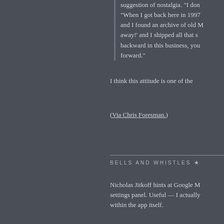suggestion of nostalgia. "I don't... "When I got back here in 1997... and I found an archive of old M... away!' and I shipped all that s... backward in this business, you... forward."
I think this attitude is one of the...
(Via Chris Foresman.)
BELLS AND WHISTLES ★
Nicholas Jitkoff hints at Google M... settings panel. Useful — I actually... within the app itself.